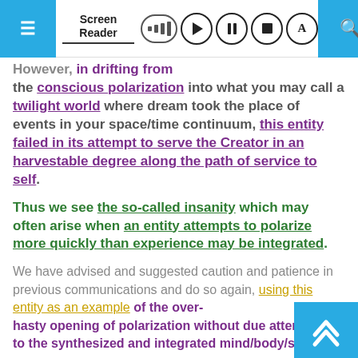Screen Reader toolbar with menu, signal, play, pause, stop, and font-size controls
However, in drifting from the conscious polarization into what you may call a twilight world where dream took the place of events in your space/time continuum, this entity failed in its attempt to serve the Creator in an harvestable degree along the path of service to self.
Thus we see the so-called insanity which may often arise when an entity attempts to polarize more quickly than experience may be integrated.
We have advised and suggested caution and patience in previous communications and do so again, using this entity as an example of the over-hasty opening of polarization without due attention to the synthesized and integrated mind/body/spiri…